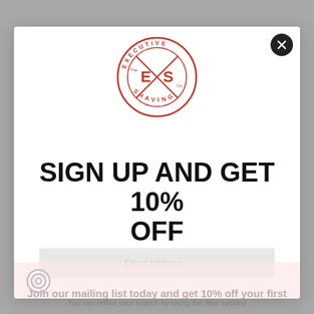[Figure (logo): Executive Shaving Co. circular logo in red with E/S mark in center and text around the ring]
SIGN UP AND GET 10% OFF
Join our mailing list today and get 10% off your first order! Plus, you'll be the first to know about new products, special offers, competitions & more.